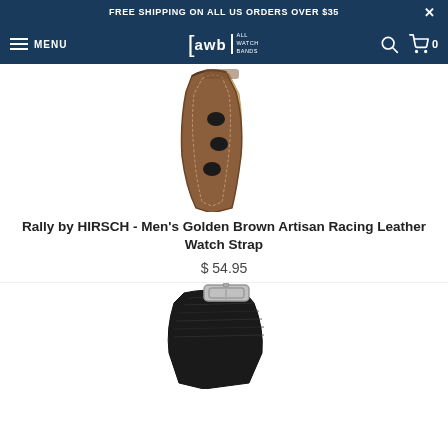FREE SHIPPING ON ALL US ORDERS OVER $35
eawbl ALL WATCH BANDS  MENU  0
[Figure (photo): Brown leather rally/racing watch strap with cutout holes and cream stitching, shown curved and unclasped]
Rally by HIRSCH - Men's Golden Brown Artisan Racing Leather Watch Strap
$ 54.95
[Figure (photo): Black leather watch strap with silver buckle hardware, partially visible at bottom of page]